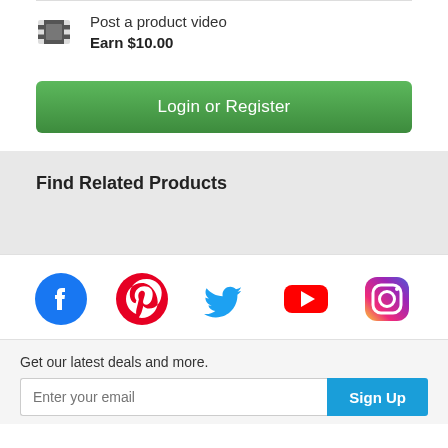Earn $4.00
Post a product video
Earn $10.00
Login or Register
Find Related Products
[Figure (logo): Social media icons: Facebook, Pinterest, Twitter, YouTube, Instagram]
Get our latest deals and more.
Enter your email | Sign Up